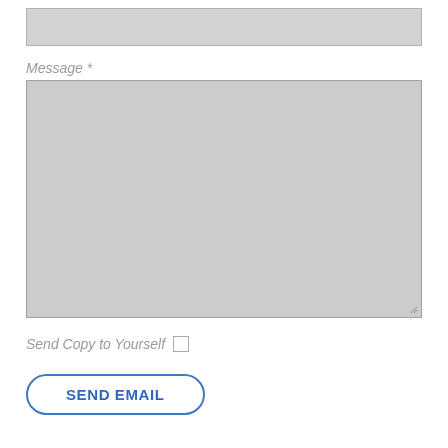[Figure (screenshot): A text input field (empty, gray background) partially visible at the top of the page]
Message *
[Figure (screenshot): A large textarea input field (empty, gray background) with a resize handle at the bottom-right corner]
Send Copy to Yourself
SEND EMAIL